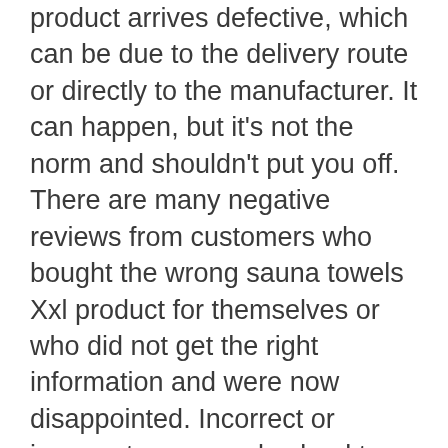product arrives defective, which can be due to the delivery route or directly to the manufacturer. It can happen, but it's not the norm and shouldn't put you off. There are many negative reviews from customers who bought the wrong sauna towels Xxl product for themselves or who did not get the right information and were now disappointed. Incorrect or incorrect use can also lead to a negative rating.
Products often have to be assembled, for some this is too complicated, time-consuming or just not for them. Often these so-called negative ratings simply contain frustration that the buyer had. Nevertheless, there are certainly legitimate negative reviews, so I always recommend that you read them Read reviews carefully and revolves around use, durability & quality. What